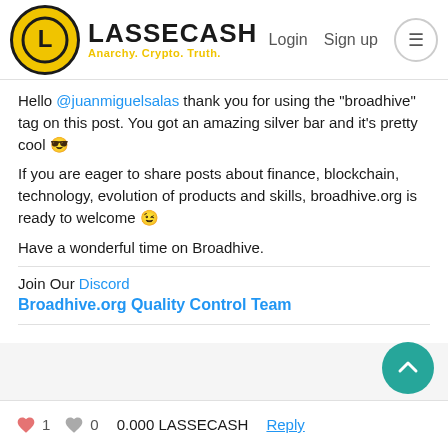LASSECASH Anarchy. Crypto. Truth. Login Sign up
Hello @juanmiguelsalas thank you for using the "broadhive" tag on this post. You got an amazing silver bar and it's pretty cool 😎
If you are eager to share posts about finance, blockchain, technology, evolution of products and skills, broadhive.org is ready to welcome 🙂
Have a wonderful time on Broadhive.
Join Our Discord
Broadhive.org Quality Control Team
♥ 1   ♥ 0   0.000 LASSECASH   Reply